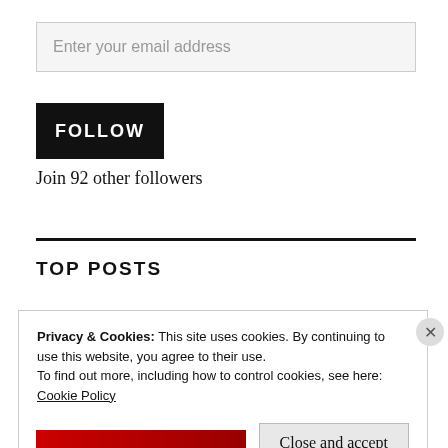Enter your email address
FOLLOW
Join 92 other followers
TOP POSTS
Privacy & Cookies: This site uses cookies. By continuing to use this website, you agree to their use.
To find out more, including how to control cookies, see here:
Cookie Policy
Close and accept